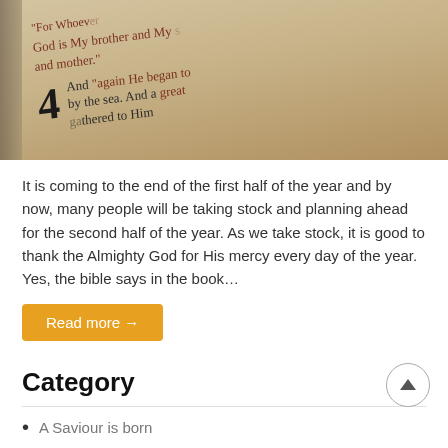[Figure (photo): Close-up photo of a Bible page showing text including 'For whoever does the will of God is My brother and My sister and mother.' and 'And again He began to teach by the sea. And a great multitude gathered to Him', with a large chapter number 4]
It is coming to the end of the first half of the year and by now, many people will be taking stock and planning ahead for the second half of the year. As we take stock, it is good to thank the Almighty God for His mercy every day of the year. Yes, the bible says in the book…
Read more →
Category
A Saviour is born